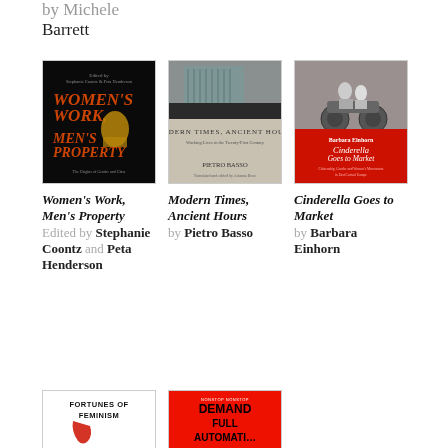by Michele Barrett
[Figure (photo): Book cover of Women's Work, Men's Property edited by Stephanie Coontz and Peta Henderson. Dark cover with golden figure illustration.]
[Figure (photo): Book cover of Modern Times, Ancient Hours: Working Lives in the Twenty-First Century by Pietro Basso. Minimalist grey cover with architectural interior photo.]
[Figure (photo): Book cover of Cinderella Goes to Market by Barbara Einhorn. Red and grey cover with vintage motorcycle photo.]
Women's Work, Men's Property Edited by Stephanie Coontz and Peta Henderson
Modern Times, Ancient Hours by Pietro Basso
Cinderella Goes to Market by Barbara Einhorn
[Figure (photo): Book cover of Fortunes of Feminism. White cover with red illustration.]
[Figure (photo): Book cover of Demand Full Automation. Red cover with bold black text.]